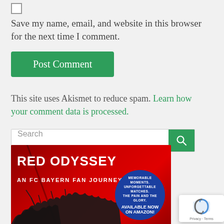Save my name, email, and website in this browser for the next time I comment.
Post Comment
This site uses Akismet to reduce spam. Learn how your comment data is processed.
Search
[Figure (illustration): Red Odyssey book/product advertisement. Red background with crowd silhouettes. Title reads RED ODYSSEY AN FC BAYERN FAN JOURNEY. Blue circle with text: MEMORABLE MOMENTS. UNFORGETTABLE MATCHES. THE PAIN AND THE GLORY. AVAILABLE NOW ON AMAZON!]